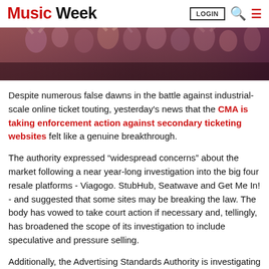Music Week — LOGIN
[Figure (photo): Crowd of concert-goers/festival attendees, arms raised, purple/dark tinted photo]
Despite numerous false dawns in the battle against industrial-scale online ticket touting, yesterday's news that the CMA is taking enforcement action against secondary ticketing websites felt like a genuine breakthrough.
The authority expressed “widespread concerns” about the market following a near year-long investigation into the big four resale platforms - Viagogo. StubHub, Seatwave and Get Me In! - and suggested that some sites may be breaking the law. The body has vowed to take court action if necessary and, tellingly, has broadened the scope of its investigation to include speculative and pressure selling.
Additionally, the Advertising Standards Authority is investigating whether the sites have broken marketing rules, National Trading Standards is looking into how “power-sellers” are able to buy tickets